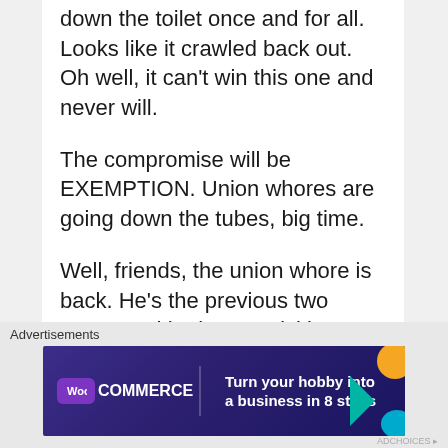down the toilet once and for all. Looks like it crawled back out. Oh well, it can't win this one and never will.
The compromise will be EXEMPTION. Union whores are going down the tubes, big time.
Well, friends, the union whore is back. He's the previous two posts, and he keeps sticking to his imaginary person with his imaginary figures. Anything is possible when you spin a
Advertisements
[Figure (other): WooCommerce advertisement banner: dark purple background with WooCommerce logo on left and text 'Turn your hobby into a business in 8 steps' in white, with decorative shapes (teal triangle, orange circle, blue shape) on right.]